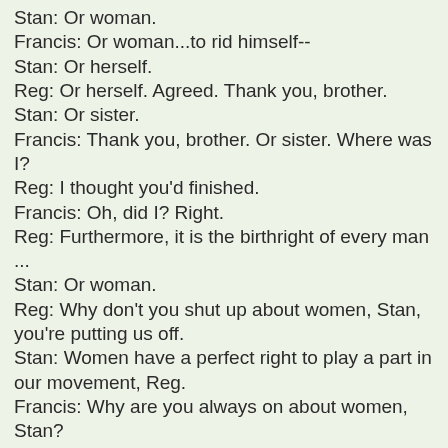Stan: Or woman.
Francis: Or woman...to rid himself--
Stan: Or herself.
Reg: Or herself. Agreed. Thank you, brother.
Stan: Or sister.
Francis: Thank you, brother. Or sister. Where was I?
Reg: I thought you'd finished.
Francis: Oh, did I? Right.
Reg: Furthermore, it is the birthright of every man ...
Stan: Or woman.
Reg: Why don't you shut up about women, Stan, you're putting us off.
Stan: Women have a perfect right to play a part in our movement, Reg.
Francis: Why are you always on about women, Stan?
Stan: (pause) I want to be one.

(pregnant pause)

Reg: What?
Stan: I want to be a woman. From now on I want you all to call me Loretta.
Reg: What!?
Stan: It's my right as a man.
Judith: Why do you want to be Loretta, Stan?
Stan: I want to have babies.